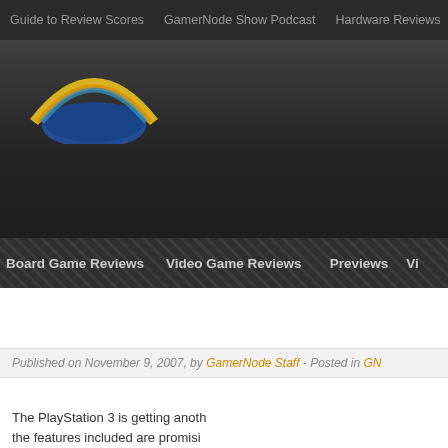Guide to Review Scores   GamerNode Show Podcast   Hardware Reviews   Ch
[Figure (logo): GamerNode rainbow arc logo over dark background header area]
Board Game Reviews   Video Game Reviews   Previews   Vi
Published on November 9, 2007, by GamerNode Staff - Posted in GN
The PlayStation 3 is getting anoth the features included are promisi ticks to totally addition